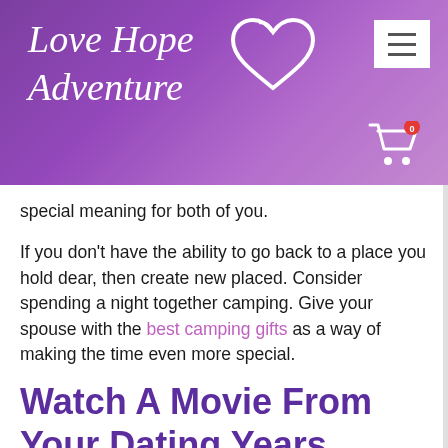[Figure (logo): Love Hope Adventure website header with purple gradient background, cursive white logo text with heart icon, hamburger menu button, and shopping cart icon with badge showing 0]
special meaning for both of you.
If you don't have the ability to go back to a place you hold dear, then create new placed. Consider spending a night together camping. Give your spouse with the best camping gifts as a way of making the time even more special.
Watch A Movie From Your Dating Years
Want to get nostalgic with each other? Watch a movie